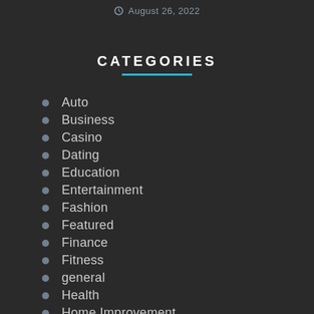August 26, 2022
CATEGORIES
Auto
Business
Casino
Dating
Education
Entertainment
Fashion
Featured
Finance
Fitness
general
Health
Home Improvement